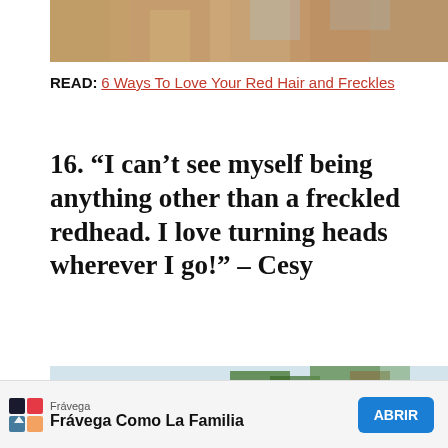[Figure (photo): Top portion of a photo showing red/blonde wavy hair against a light blue background, cropped at top of page]
READ: 6 Ways To Love Your Red Hair and Freckles
16. “I can’t see myself being anything other than a freckled redhead. I love turning heads wherever I go!” – Cesy
[Figure (photo): Bottom portion showing palm trees against a light sky, cropped at bottom of page]
Frávega
Frávega Como La Familia
ABRIR